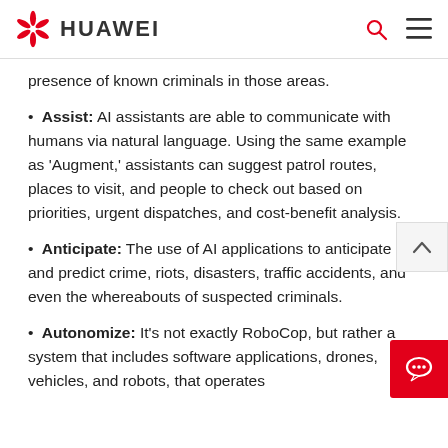HUAWEI
presence of known criminals in those areas.
Assist: AI assistants are able to communicate with humans via natural language. Using the same example as 'Augment,' assistants can suggest patrol routes, places to visit, and people to check out based on priorities, urgent dispatches, and cost-benefit analysis.
Anticipate: The use of AI applications to anticipate and predict crime, riots, disasters, traffic accidents, and even the whereabouts of suspected criminals.
Autonomize: It's not exactly RoboCop, but rather a system that includes software applications, drones, vehicles, and robots, that operates